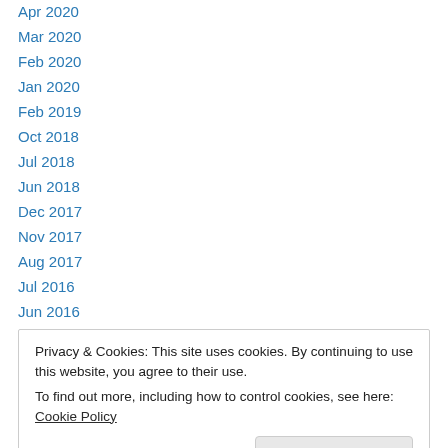Apr 2020
Mar 2020
Feb 2020
Jan 2020
Feb 2019
Oct 2018
Jul 2018
Jun 2018
Dec 2017
Nov 2017
Aug 2017
Jul 2016
Jun 2016
Privacy & Cookies: This site uses cookies. By continuing to use this website, you agree to their use.
To find out more, including how to control cookies, see here: Cookie Policy
Feb 2015